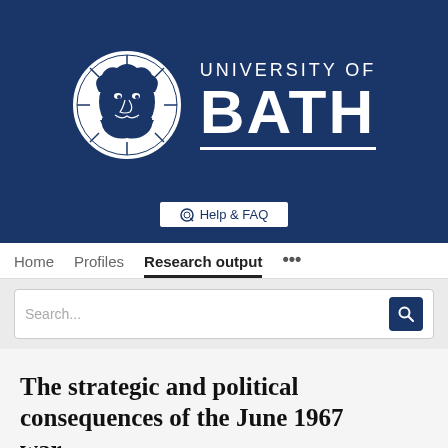[Figure (logo): University of Bath logo with circular emblem featuring a face/sun design and the text UNIVERSITY OF BATH]
Help & FAQ
Home   Profiles   Research output   ...
Search...
The strategic and political consequences of the June 1967 war
Dimitrios Machairas
Politics, Languages & International Studies